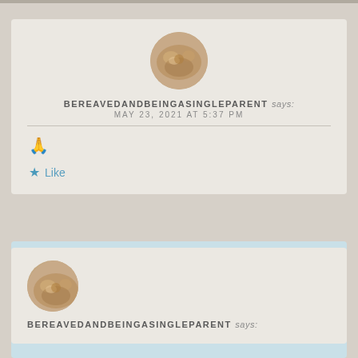[Figure (photo): Circular avatar photo of a cat or dog on a wooden floor, blurry/soft focus]
BEREAVEDANDBEINGASINGLEPARENT says:
MAY 23, 2021 AT 5:37 PM
🙏
★ Like
[Figure (photo): Circular avatar photo of a cat or dog on a wooden floor, blurry/soft focus]
BEREAVEDANDBEINGASINGLEPARENT says: